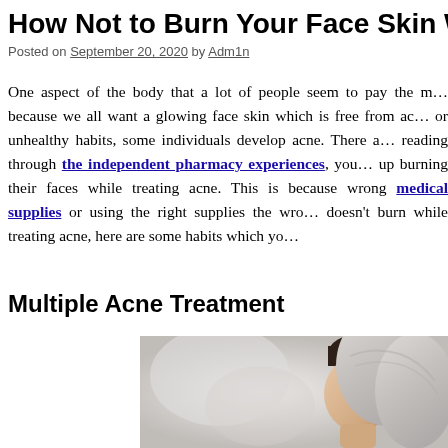How Not to Burn Your Face Skin While Tr…
Posted on September 20, 2020 by Adm1n
One aspect of the body that a lot of people seem to pay the most attention to is the face because we all want a glowing face skin which is free from acne. Due to our lifestyle or unhealthy habits, some individuals develop acne. There are…reading through the independent pharmacy experiences, you…up burning their faces while treating acne. This is because…wrong medical supplies or using the right supplies the wrong…doesn't burn while treating acne, here are some habits which yo…
Multiple Acne Treatment
[Figure (photo): Person with a white towel wrapped around their head, face partially visible, soft background]